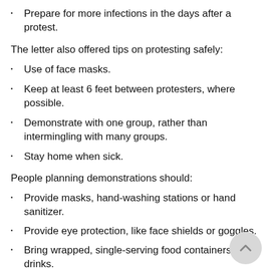Prepare for more infections in the days after a protest.
The letter also offered tips on protesting safely:
Use of face masks.
Keep at least 6 feet between protesters, where possible.
Demonstrate with one group, rather than intermingling with many groups.
Stay home when sick.
People planning demonstrations should:
Provide masks, hand-washing stations or hand sanitizer.
Provide eye protection, like face shields or goggles.
Bring wrapped, single-serving food containers or drinks.
Provide chalk to encourage distancing between protesters.